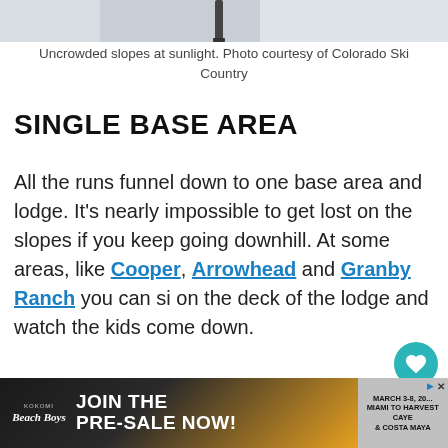[Figure (photo): Top strip showing uncrowded ski slopes at sunlight — partial photo cropped at top of page]
Uncrowded slopes at sunlight. Photo courtesy of Colorado Ski Country
SINGLE BASE AREA
All the runs funnel down to one base area and lodge. It's nearly impossible to get lost on the slopes if you keep going downhill. At some areas, like Cooper, Arrowhead and Granby Ranch you can sit on the deck of the lodge and watch the kids come down.
[Figure (infographic): Advertisement banner at bottom: Beach Boys Pre-Sale and Miami to Harvest Caye & Costa Maya cruise promotion]